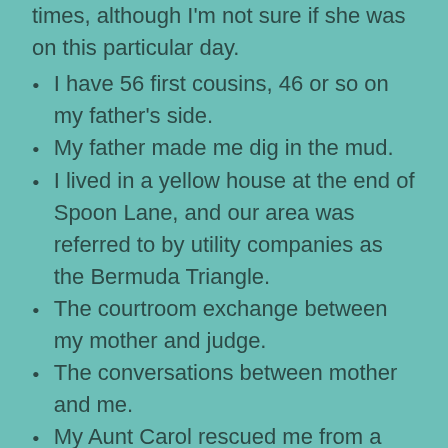times, although I'm not sure if she was on this particular day.
I have 56 first cousins, 46 or so on my father's side.
My father made me dig in the mud.
I lived in a yellow house at the end of Spoon Lane, and our area was referred to by utility companies as the Bermuda Triangle.
The courtroom exchange between my mother and judge.
The conversations between mother and me.
My Aunt Carol rescued me from a summer of misery.
My favorite song at that time was “Band on the Run”.